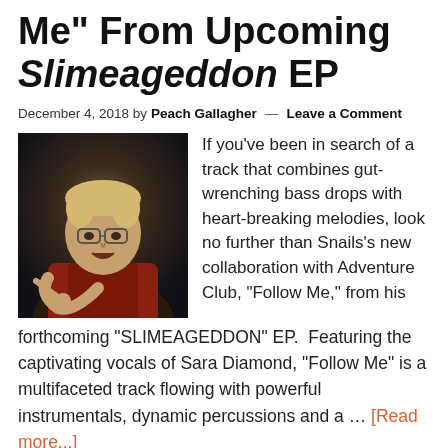Me" From Upcoming Slimeageddon EP
December 4, 2018 by Peach Gallagher — Leave a Comment
[Figure (photo): A young man with glasses and a red flannel shirt, pointing a finger toward the camera against a dark background.]
If you've been in search of a track that combines gut-wrenching bass drops with heart-breaking melodies, look no further than Snails's new collaboration with Adventure Club, "Follow Me," from his forthcoming "SLIMEAGEDDON" EP.  Featuring the captivating vocals of Sara Diamond, "Follow Me" is a multifaceted track flowing with powerful instrumentals, dynamic percussions and a … [Read more...]